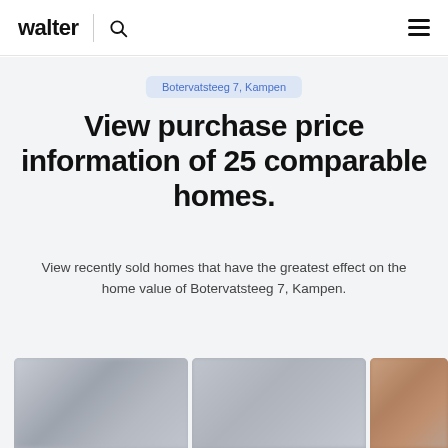walter
Botervatsteeg 7, Kampen
View purchase price information of 25 comparable homes.
View recently sold homes that have the greatest effect on the home value of Botervatsteeg 7, Kampen.
[Figure (photo): Three partially visible blurred house photos at the bottom of the page]